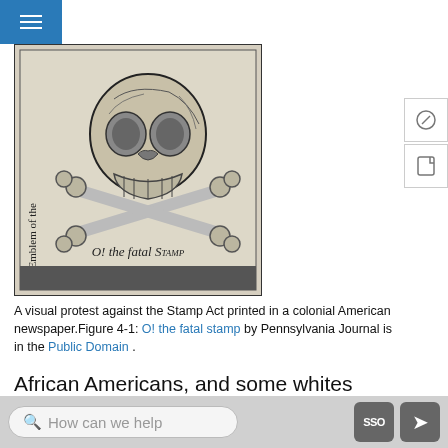[Figure (illustration): A black and white woodcut image of a skull and crossbones with the text 'O! the fatal Stamp' at the bottom and 'An Emblem of the' written vertically on the left side. The image is from the Pennsylvania Journal as a visual protest against the Stamp Act.]
A visual protest against the Stamp Act printed in a colonial American newspaper.Figure 4-1: O! the fatal stamp by Pennsylvania Journal is in the Public Domain .
African Americans, and some whites opposed to slavery, also recognized the curious irony of statements made by some white colonists that